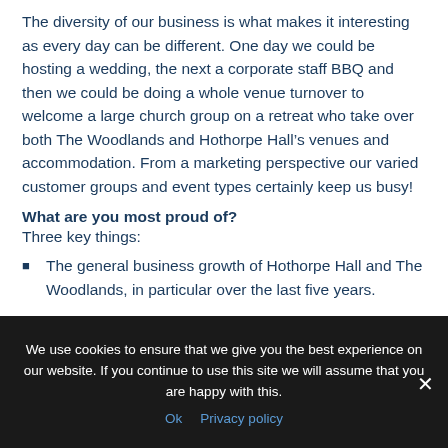The diversity of our business is what makes it interesting as every day can be different. One day we could be hosting a wedding, the next a corporate staff BBQ and then we could be doing a whole venue turnover to welcome a large church group on a retreat who take over both The Woodlands and Hothorpe Hall’s venues and accommodation. From a marketing perspective our varied customer groups and event types certainly keep us busy!
What are you most proud of?
Three key things:
The general business growth of Hothorpe Hall and The Woodlands, in particular over the last five years.
Launching The Woodlands in 2015 and making a continued
We use cookies to ensure that we give you the best experience on our website. If you continue to use this site we will assume that you are happy with this.
Ok   Privacy policy